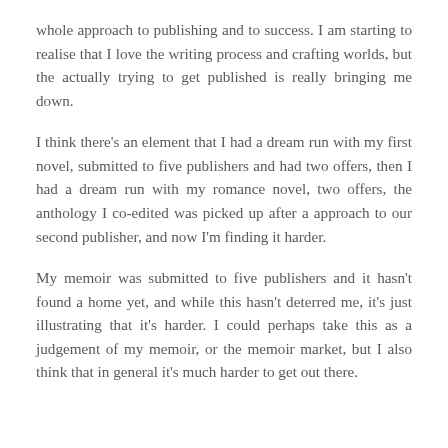whole approach to publishing and to success. I am starting to realise that I love the writing process and crafting worlds, but the actually trying to get published is really bringing me down.
I think there's an element that I had a dream run with my first novel, submitted to five publishers and had two offers, then I had a dream run with my romance novel, two offers, the anthology I co-edited was picked up after a approach to our second publisher, and now I'm finding it harder.
My memoir was submitted to five publishers and it hasn't found a home yet, and while this hasn't deterred me, it's just illustrating that it's harder. I could perhaps take this as a judgement of my memoir, or the memoir market, but I also think that in general it's much harder to get out there.